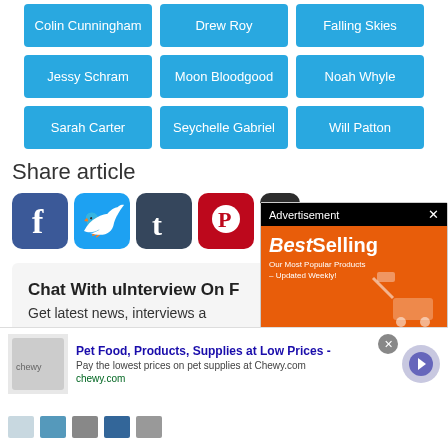Colin Cunningham
Drew Roy
Falling Skies
Jessy Schram
Moon Bloodgood
Noah Whyle
Sarah Carter
Seychelle Gabriel
Will Patton
Share article
[Figure (infographic): Social media share icons: Facebook, Twitter, Tumblr, Pinterest, and a partially visible icon]
Chat With uInterview On F
Get latest news, interviews a…
directly to your Messenger!
[Figure (infographic): Advertisement overlay: BestSelling - Our Most Popular Products - Updated Weekly! AliExpress Shop Now banner with orange background and shopping cart illustration]
[Figure (infographic): Bottom ad banner: Pet Food, Products, Supplies at Low Prices - Pay the lowest prices on pet supplies at Chewy.com, chewy.com]